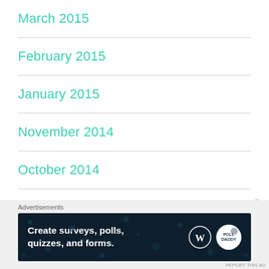March 2015
February 2015
January 2015
November 2014
October 2014
September 2014
August 2014
Advertisements
[Figure (other): Advertisement banner: Create surveys, polls, quizzes, and forms. WordPress and PollDaddy logos on dark background.]